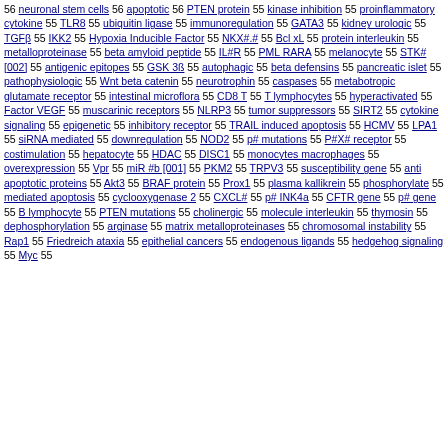56 neuronal stem cells 56 apoptotic 56 PTEN protein 55 kinase inhibition 55 proinflammatory cytokine 55 TLR8 55 ubiquitin ligase 55 immunoregulation 55 GATA3 55 kidney urologic 55 TGFβ 55 IKK2 55 Hypoxia Inducible Factor 55 NKX#.# 55 Bcl xL 55 protein interleukin 55 metalloproteinase 55 beta amyloid peptide 55 IL#R 55 PML RARA 55 melanocyte 55 STK# [002] 55 antigenic epitopes 55 GSK 3ß 55 autophagic 55 beta defensins 55 pancreatic islet 55 pathophysiologic 55 Wnt beta catenin 55 neurotrophin 55 caspases 55 metabotropic glutamate receptor 55 intestinal microflora 55 CD8 T 55 T lymphocytes 55 hyperactivated 55 Factor VEGF 55 muscarinic receptors 55 NLRP3 55 tumor suppressors 55 SIRT2 55 cytokine signaling 55 epigenetic 55 inhibitory receptor 55 TRAIL induced apoptosis 55 HCMV 55 LPA1 55 siRNA mediated 55 downregulation 55 NOD2 55 p# mutations 55 P#X# receptor 55 costimulation 55 hepatocyte 55 HDAC 55 DISC1 55 monocytes macrophages 55 overexpression 55 Vpr 55 miR #b [001] 55 PKM2 55 TRPV3 55 susceptibility gene 55 anti apoptotic proteins 55 Akt3 55 BRAF protein 55 Prox1 55 plasma kallikrein 55 phosphorylate 55 mediated apoptosis 55 cyclooxygenase 2 55 CXCL# 55 p# INK4a 55 CFTR gene 55 p# gene 55 B lymphocyte 55 PTEN mutations 55 cholinergic 55 molecule interleukin 55 thymosin 55 dephosphorylation 55 arginase 55 matrix metalloproteinases 55 chromosomal instability 55 Rap1 55 Friedreich ataxia 55 epithelial cancers 55 endogenous ligands 55 hedgehog signaling 55 Myc 55